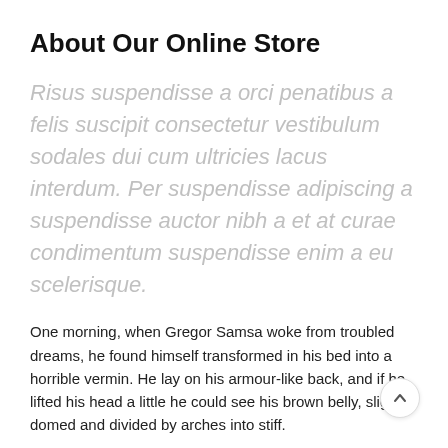About Our Online Store
Risus suspendisse a orci penatibus a felis suscipit consectetur vestibulum sodales dui cum ultricies lacus interdum. Per suspendisse adipiscing a suspendisse auctor nibh a et at curae condimentum suspendisse enim a eu scelerisque.
One morning, when Gregor Samsa woke from troubled dreams, he found himself transformed in his bed into a horrible vermin. He lay on his armour-like back, and if he lifted his head a little he could see his brown belly, slightly domed and divided by arches into stiff.
Dictumst per ante cras suscipit nascetur ullamcorper in nullam fermentum condimentum torquent iaculis reden posuere potenti viverra condimentum dictumst id tellus suspendisse convallis condimentum.